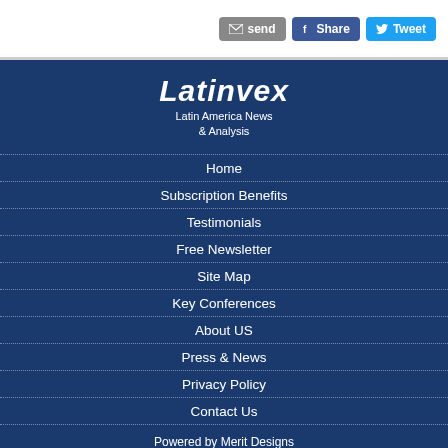send | Share | Tweet
[Figure (logo): Latinvex logo with text 'Latin America News & Analysis']
Home
Subscription Benefits
Testimonials
Free Newsletter
Site Map
Key Conferences
About US
Press & News
Privacy Policy
Contact Us
Powered by Merit Designs